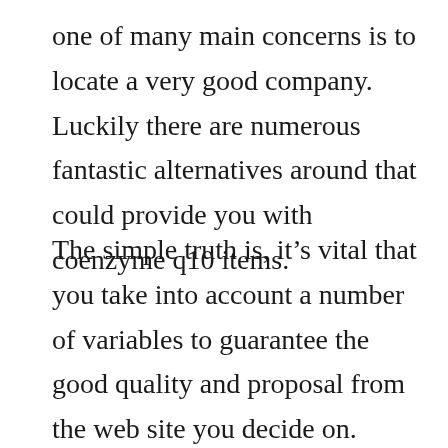one of many main concerns is to locate a very good company. Luckily there are numerous fantastic alternatives around that could provide you with coenzyme q10 items.
The simple truth is, it's vital that you take into account a number of variables to guarantee the good quality and proposal from the web site you decide on. Things such as zero animal screening, normally constructed products which don't have unneeded